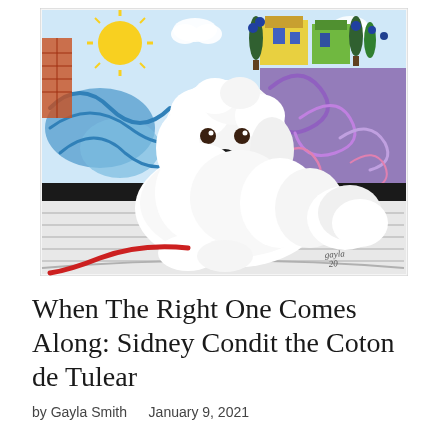[Figure (illustration): Colorful folk-art style illustration of a white fluffy Coton de Tulear dog with a red leash, lying on a striped surface. Background features swirling blue waves, a bright sun, clouds, and colorful buildings. Artist signature 'gayla 20' in lower right.]
When The Right One Comes Along: Sidney Condit the Coton de Tulear
by Gayla Smith    January 9, 2021